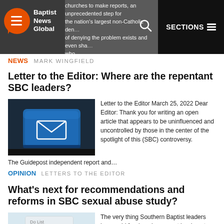Baptist News Global | SECTIONS
churches to make reports, an unprecedented step for the nation's largest non-Catholic den... of denying the problem exists and even sha... who...
NEWS MARK WINGFIELD
Letter to the Editor: Where are the repentant SBC leaders?
[Figure (photo): Blue keyboard key with envelope/letter icon]
Letter to the Editor March 25, 2022 Dear Editor: Thank you for writing an open article that appears to be uninfluenced and uncontrolled by those in the center of the spotlight of this (SBC) controversy. The Guidepost independent report and…
OPINION LETTERS TO THE EDITOR
What's next for recommendations and reforms in SBC sexual abuse study?
[Figure (photo): Document with to-do list and blue pen]
The very thing Southern Baptist leaders have said for decades cannot be done tops the list of recommended actions from the independent firm that investigated allegations of mishandling sexual abuse... Guidepost Solutions... the Southern Baptist Convention...